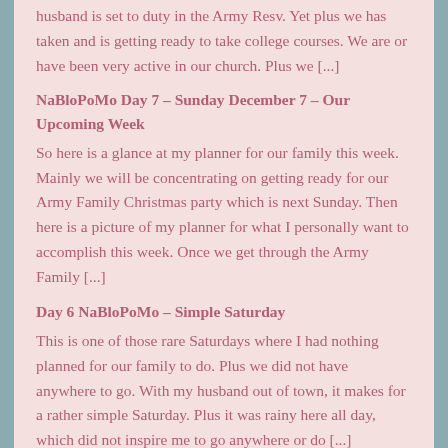husband is set to duty in the Army Resv. Yet plus we has taken and is getting ready to take college courses.  We are or have been very active in our church.  Plus we [...]
NaBloPoMo Day 7 – Sunday December 7 – Our Upcoming Week
So here is a glance at my planner for our family this week.  Mainly we will be concentrating on getting ready for our Army Family Christmas party which is next Sunday. Then here is a picture of my planner for what I personally want to accomplish this week. Once we get through the Army Family [...]
Day 6 NaBloPoMo – Simple Saturday
This is one of those rare Saturdays where I had nothing planned for our family to do.  Plus we did not have anywhere to go.  With my husband out of town, it makes for a rather simple Saturday.  Plus it was rainy here all day, which did not inspire me to go anywhere or do [...]